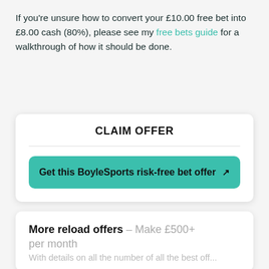If you're unsure how to convert your £10.00 free bet into £8.00 cash (80%), please see my free bets guide for a walkthrough of how it should be done.
CLAIM OFFER
Get this BoyleSports risk-free bet offer ↗
More reload offers – Make £500+ per month
With details on all the number of all the best off...